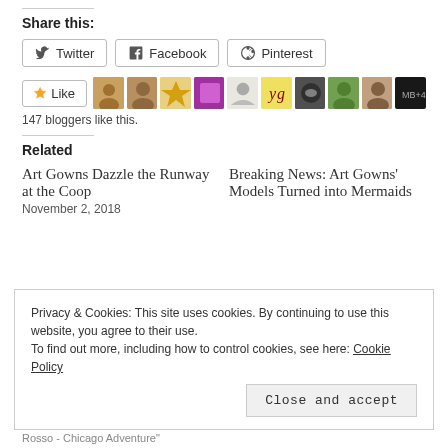Share this:
Twitter  Facebook  Pinterest
[Figure (other): Like button with star icon followed by 10 blogger avatar thumbnails]
147 bloggers like this.
Related
Art Gowns Dazzle the Runway at the Coop
November 2, 2018
Breaking News: Art Gowns' Models Turned into Mermaids
Privacy & Cookies: This site uses cookies. By continuing to use this website, you agree to their use.
To find out more, including how to control cookies, see here: Cookie Policy
Close and accept
Rosso - Chicago Adventure"